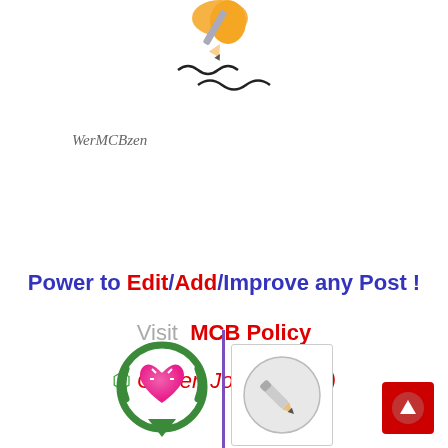[Figure (illustration): Cartoon hand holding a pencil writing squiggly lines, partially cropped at top of page]
WerMCBzen
Power to Edit/Add/Improve any Post !
Visit  MCB Policy
⬡ Citizen Journalism ;)
[Figure (logo): Sparkling pink heart inside green circular arrows pointing down with green downward triangle — MCB community heart logo]
[Figure (illustration): Gray circle with a pencil icon inside, bordered by a light gray square box — edit button icon]
[Figure (illustration): Red square scroll-to-top button with upward arrow in bottom-right corner]